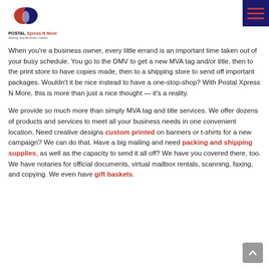POSTAL Xpress N More — Mailing and Business Needs
When you're a business owner, every little errand is an important time taken out of your busy schedule. You go to the DMV to get a new MVA tag and/or title, then to the print store to have copies made, then to a shipping store to send off important packages. Wouldn't it be nice instead to have a one-stop-shop? With Postal Xpress N More, this is more than just a nice thought — it's a reality.
We provide so much more than simply MVA tag and title services. We offer dozens of products and services to meet all your business needs in one convenient location. Need creative designs custom printed on banners or t-shirts for a new campaign? We can do that. Have a big mailing and need packing and shipping supplies, as well as the capacity to send it all off? We have you covered there, too. We have notaries for official documents, virtual mailbox rentals, scanning, faxing, and copying. We even have gift baskets.